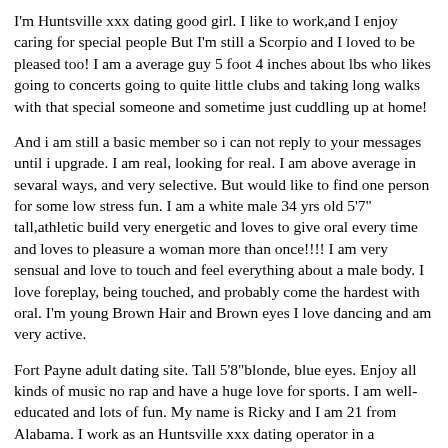I'm Huntsville xxx dating good girl. I like to work,and I enjoy caring for special people But I'm still a Scorpio and I loved to be pleased too! I am a average guy 5 foot 4 inches about lbs who likes going to concerts going to quite little clubs and taking long walks with that special someone and sometime just cuddling up at home!
And i am still a basic member so i can not reply to your messages until i upgrade. I am real, looking for real. I am above average in sevaral ways, and very selective. But would like to find one person for some low stress fun. I am a white male 34 yrs old 5'7" tall,athletic build very energetic and loves to give oral every time and loves to pleasure a woman more than once!!!! I am very sensual and love to touch and feel everything about a male body. I love foreplay, being touched, and probably come the hardest with oral. I'm young Brown Hair and Brown eyes I love dancing and am very active.
Fort Payne adult dating site. Tall 5'8"blonde, blue eyes. Enjoy all kinds of music no rap and have a huge love for sports. I am well-educated and lots of fun. My name is Ricky and I am 21 from Alabama. I work as an Huntsville xxx dating operator in a warehouse. I am into music, atv'ing and computers. Just some of my general hobbies so If it strikes some interest go ahead an contact me. If you think you are ready for a thrill then just come